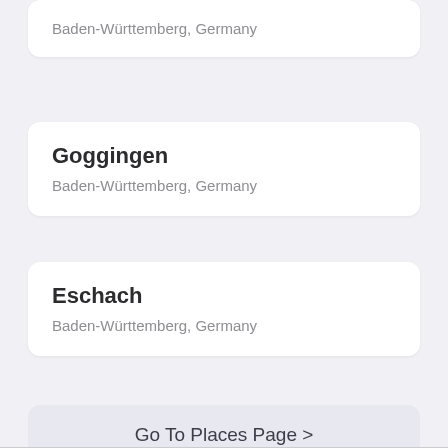Baden-Württemberg, Germany
Goggingen
Baden-Württemberg, Germany
Eschach
Baden-Württemberg, Germany
Go To Places Page >